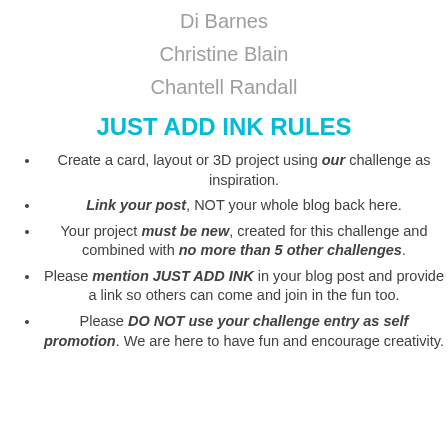Di Barnes
Christine Blain
Chantell Randall
JUST ADD INK RULES
Create a card, layout or 3D project using our challenge as inspiration.
Link your post, NOT your whole blog back here.
Your project must be new, created for this challenge and combined with no more than 5 other challenges.
Please mention JUST ADD INK in your blog post and provide a link so others can come and join in the fun too.
Please DO NOT use your challenge entry as self promotion. We are here to have fun and encourage creativity.